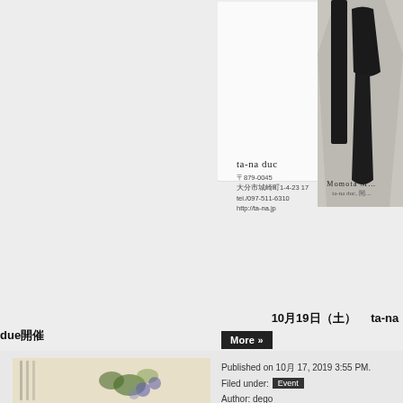[Figure (photo): Business card or flyer for ta-na duc shop with contact information]
[Figure (photo): Fashion photo showing person in black and white garment, cropped, with caption Momota M. ta-na duc]
10月19日（土）　ta-na due開催
More »
Published on 10月 17, 2019 3:55 PM.
Filed under: Event
Author: dego
[Figure (photo): Botanical illustration with Japanese text showing flowers and leaves, partial view at bottom of page]